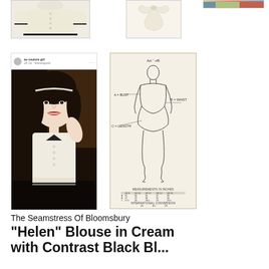[Figure (photo): Close-up of a cream/white blouse with buttons and dark trim, top left]
[Figure (photo): Back tie detail of a cream blouse with ribbon bow, top center]
[Figure (photo): Partial image top right, colorful outdoor scene]
[Figure (screenshot): Social media post showing a woman wearing a cream blouse with dark hair and red lipstick]
[Figure (illustration): Sizing chart diagram with a female figure outline labeled A=Bust, B=Waist, C=Length, with measurement tables in inches and international conversion]
The Seamstress Of Bloomsbury
"Helen" Blouse in Cream with Contrast Black Bi...